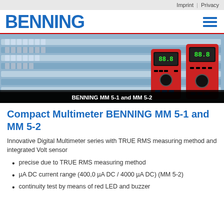Imprint | Privacy
[Figure (logo): BENNING company logo in blue bold text with red underline, and hamburger menu icon]
[Figure (photo): Hero banner showing electrical panel/circuit breakers in blue tint with two red BENNING MM 5-1 and MM 5-2 digital multimeters on the right side]
BENNING MM 5-1 and MM 5-2
Compact Multimeter BENNING MM 5-1 and MM 5-2
Innovative Digital Multimeter series with TRUE RMS measuring method and integrated Volt sensor
precise due to TRUE RMS measuring method
µA DC current range (400,0 µA DC / 4000 µA DC) (MM 5-2)
continuity test by means of red LED and buzzer